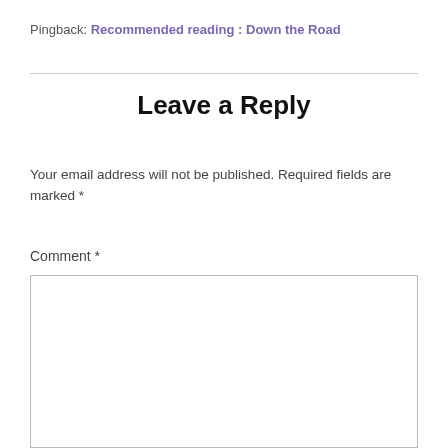Pingback: Recommended reading : Down the Road
Leave a Reply
Your email address will not be published. Required fields are marked *
Comment *